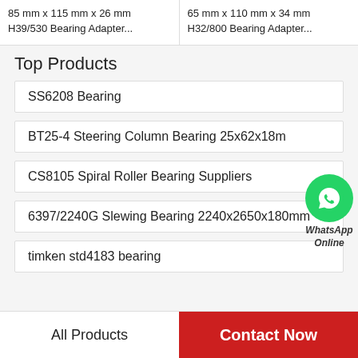85 mm x 115 mm x 26 mm H39/530 Bearing Adapter...
65 mm x 110 mm x 34 mm H32/800 Bearing Adapter...
Top Products
SS6208 Bearing
BT25-4 Steering Column Bearing 25x62x18m
CS8105 Spiral Roller Bearing Suppliers
6397/2240G Slewing Bearing 2240x2650x180mm
timken std4183 bearing
[Figure (illustration): WhatsApp Online green phone icon with WhatsApp Online label]
All Products
Contact Now